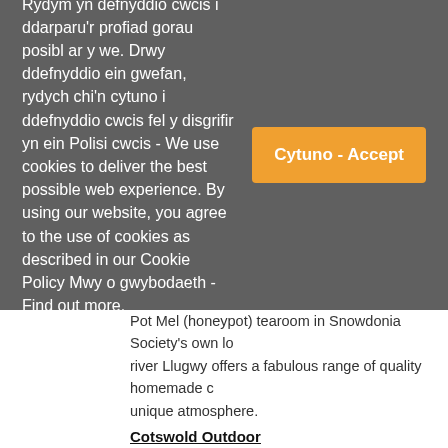Rydym yn defnyddio cwcis i ddarparu'r profiad gorau posibl ar y we. Drwy ddefnyddio ein gwefan, rydych chi'n cytuno i ddefnyddio cwcis fel y disgrifir yn ein Polisi cwcis - We use cookies to deliver the best possible web experience. By using our website, you agree to the use of cookies as described in our Cookie Policy Mwy o gwybodaeth - Find out more.
Cytuno - Accept
Pot Mel (honeypot) tearoom in Snowdonia Society's own lo... river Llugwy offers a fabulous range of quality homemade c... unique atmosphere.
Cotswold Outdoor
Member discount:
20{cfe7b007ef2d97d6c94c66bdf5fd69182957ee376eb8b2... store and on-line (terms)
A great range of outdoor clothing and footwear, climbing, c... outdoors.